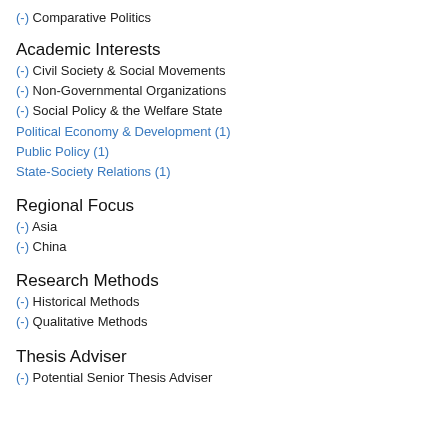(-) Comparative Politics
Academic Interests
(-) Civil Society & Social Movements
(-) Non-Governmental Organizations
(-) Social Policy & the Welfare State
Political Economy & Development (1)
Public Policy (1)
State-Society Relations (1)
Regional Focus
(-) Asia
(-) China
Research Methods
(-) Historical Methods
(-) Qualitative Methods
Thesis Adviser
(-) Potential Senior Thesis Adviser